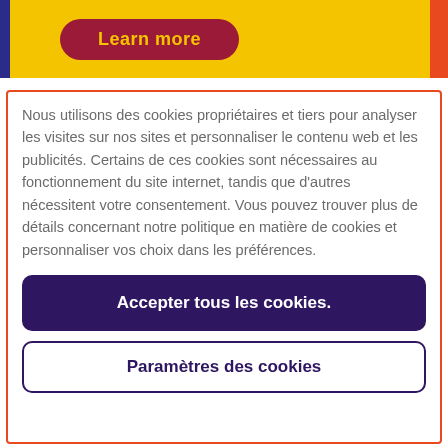[Figure (screenshot): Top banner with yellow background, dark blue left stripe, orange-red right stripe, and a dark red rounded button labeled 'Learn more' in yellow text]
Nous utilisons des cookies propriétaires et tiers pour analyser les visites sur nos sites et personnaliser le contenu web et les publicités. Certains de ces cookies sont nécessaires au fonctionnement du site internet, tandis que d'autres nécessitent votre consentement. Vous pouvez trouver plus de détails concernant notre politique en matière de cookies et personnaliser vos choix dans les préférences.
Accepter tous les cookies.
Paramètres des cookies